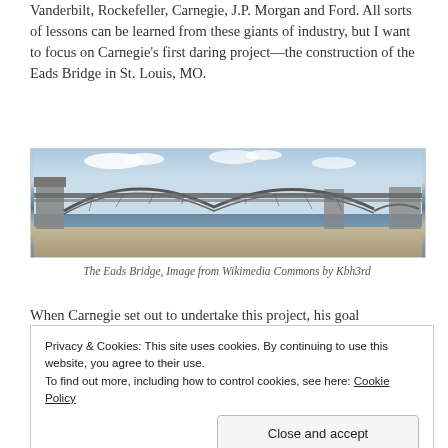Vanderbilt, Rockefeller, Carnegie, J.P. Morgan and Ford. All sorts of lessons can be learned from these giants of industry, but I want to focus on Carnegie's first daring project—the construction of the Eads Bridge in St. Louis, MO.
[Figure (photo): Photograph of the Eads Bridge spanning a river, showing its steel arch construction against a partly cloudy sky, with water in the foreground.]
The Eads Bridge, Image from Wikimedia Commons by Kbh3rd
When Carnegie set out to undertake this project, his goal
Privacy & Cookies: This site uses cookies. By continuing to use this website, you agree to their use.
To find out more, including how to control cookies, see here: Cookie Policy
strength of the bridge so people would actually use it. To